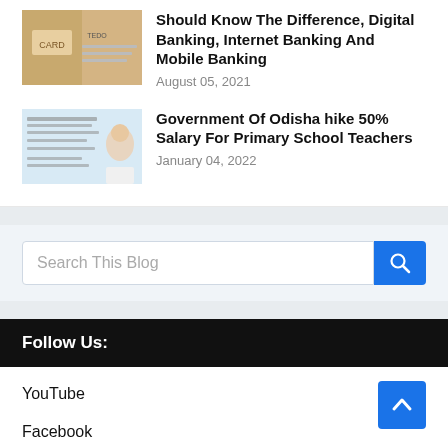Should Know The Difference, Digital Banking, Internet Banking And Mobile Banking
August 05, 2021
[Figure (photo): Thumbnail image for banking article showing card/bank related imagery]
Government Of Odisha hike 50% Salary For Primary School Teachers
January 04, 2022
[Figure (photo): Thumbnail image for Odisha government article showing official with text in Odia script]
Search This Blog
Follow Us:
YouTube
Facebook